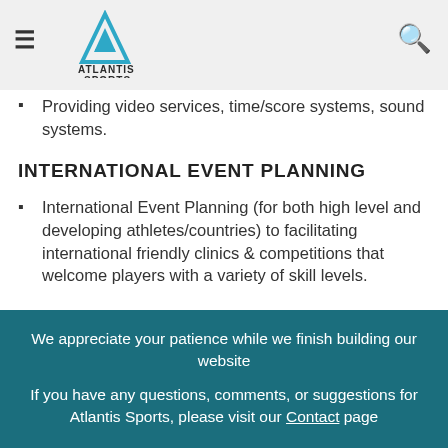Atlantis Sports [logo and navigation]
Providing video services, time/score systems, sound systems.
INTERNATIONAL EVENT PLANNING
International Event Planning (for both high level and developing athletes/countries) to facilitating international friendly clinics & competitions that welcome players with a variety of skill levels.
We appreciate your patience while we finish building our website
If you have any questions, comments, or suggestions for Atlantis Sports, please visit our Contact page